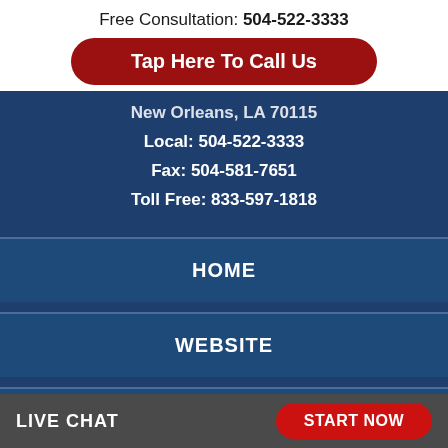Free Consultation: 504-522-3333
Tap Here To Call Us
New Orleans, LA 70115
Local: 504-522-3333
Fax: 504-581-7651
Toll Free: 833-597-1818
HOME
WEBSITE
DISCLAIMER
LIVE CHAT
START NOW